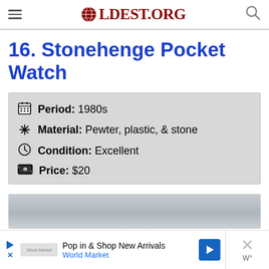OLDEST.ORG
16. Stonehenge Pocket Watch
| 📅 Period: | 1980s |
| ✳ Material: | Pewter, plastic, & stone |
| 🕐 Condition: | Excellent |
| 💵 Price: | $20 |
[Figure (photo): Partial view of a light grey/misty background, likely a photo of a Stonehenge pocket watch or related scene.]
Pop in & Shop New Arrivals World Market